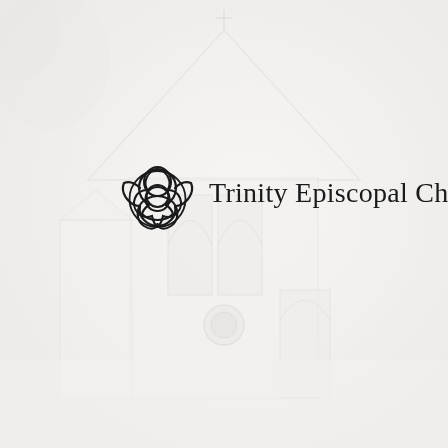[Figure (photo): Faded/washed-out grayscale photograph of a white church building with Gothic arched windows, a gabled roof with a cross at the peak, and trees partially visible. The image is very light/overexposed serving as a background.]
[Figure (logo): Trinity knot (triquetra) symbol — three interlocked arcs forming a triangular knot, drawn in a thin black outline on a white background. Used as the logo icon for Trinity Episcopal Church.]
Trinity Episcopal Church